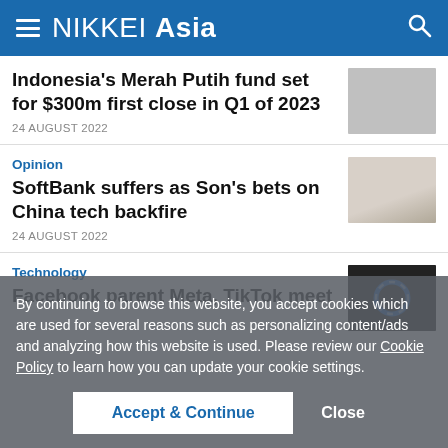NIKKEI Asia
Indonesia's Merah Putih fund set for $300m first close in Q1 of 2023
24 AUGUST 2022
Opinion
SoftBank suffers as Son's bets on China tech backfire
24 AUGUST 2022
Technology
Facebook parent Meta, TikTok meet
By continuing to browse this website, you accept cookies which are used for several reasons such as personalizing content/ads and analyzing how this website is used. Please review our Cookie Policy to learn how you can update your cookie settings.
Accept & Continue
Close